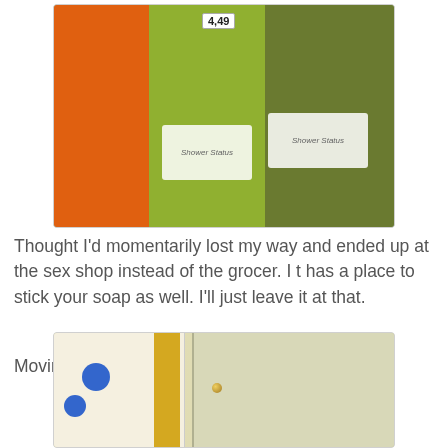[Figure (photo): Photo of colorful fluffy bath rugs or shower mats hanging on a store rack — orange, green, and dark green/olive colored, with product labels reading 'Shower Status'. A price tag showing 4.49 is visible at top.]
Thought I'd momentarily lost my way and ended up at the sex shop instead of the grocer. I t has a place to stick your soap as well. I'll just leave it at that.
Moving along...
[Figure (photo): Photo of a bathroom scene showing a floral curtain with blue flowers, a yellow strip, and a light-colored cabinet door with a gold knob.]